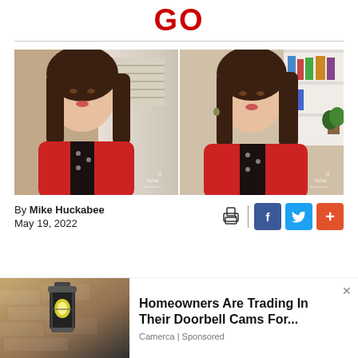GO
[Figure (photo): Two side-by-side video stills of a woman with long dark hair wearing a red cardigan over a black patterned top, speaking to camera. TikTok watermarks visible in corners.]
By Mike Huckabee
May 19, 2022
[Figure (infographic): Social sharing icons: print icon, vertical divider, Facebook blue button (f), Twitter blue button (bird), and orange plus button]
[Figure (photo): Outdoor wall-mounted lantern/light fixture on stone wall]
Homeowners Are Trading In Their Doorbell Cams For...
Camerca | Sponsored